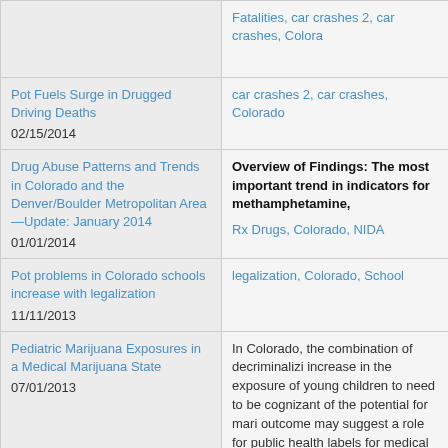| Title / Date | Tags / Summary |
| --- | --- |
| [truncated title]
02/15/2014 (partial row) | Fatalities, car crashes 2, car crashes, Colora… |
| Pot Fuels Surge in Drugged Driving Deaths
02/15/2014 | car crashes 2, car crashes, Colorado |
| Drug Abuse Patterns and Trends in Colorado and the Denver/Boulder Metropolitan Area—Update: January 2014
01/01/2014 | Overview of Findings: The most important trend in indicators for methamphetamine,…
Rx Drugs, Colorado, NIDA |
| Pot problems in Colorado schools increase with legalization
11/11/2013 | legalization, Colorado, School |
| Pediatric Marijuana Exposures in a Medical Marijuana State
07/01/2013 | In Colorado, the combination of decriminalizing… increase in the exposure of young children to… need to be cognizant of the potential for mari… outcome may suggest a role for public health… labels for medical marijuana. The consequen… marijuana. |